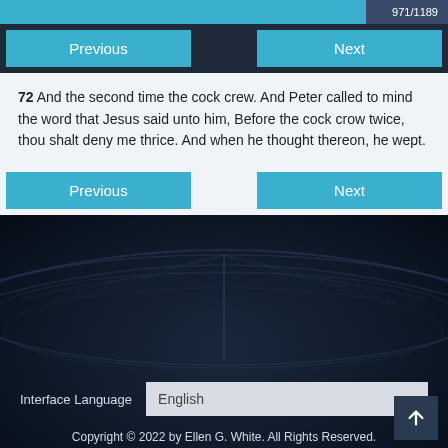971/1189
Previous
Next
72 And the second time the cock crew. And Peter called to mind the word that Jesus said unto him, Before the cock crow twice, thou shalt deny me thrice. And when he thought thereon, he wept.
Previous
Next
Interface Language
English
Copyright © 2022 by Ellen G. White. All Rights Reserved.